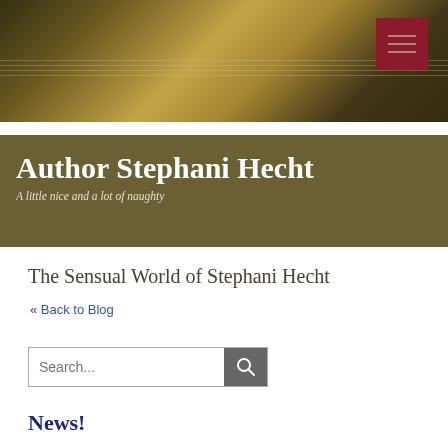[Figure (photo): Dark sepia-toned banner image with blurred papers/documents, decorative lines, and a dark red hamburger menu button in the top right corner]
Author Stephani Hecht
A little nice and a lot of naughty
The Sensual World of Stephani Hecht
« Back to Blog
Search...
News!